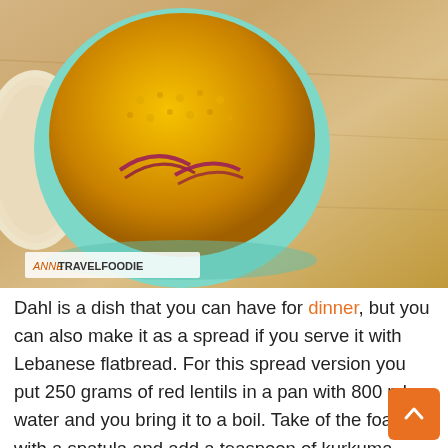[Figure (photo): A teal/mint bowl filled with yellow dahl (red lentil dish) garnished with red onion slices, served on a wooden board with flatbread visible on the left. Watermark reads 'ANNETRAVELFOODIE' in bottom left corner.]
Dahl is a dish that you can have for dinner, but you can also make it as a spread if you serve it with Lebanese flatbread. For this spread version you put 250 grams of red lentils in a pan with 800 ml water and you bring it to a boil. Take of the foam with a spatula and add a teaspoon of kurkuma. Tu the gas low and let it simmer for 15 minutes, stir regularly